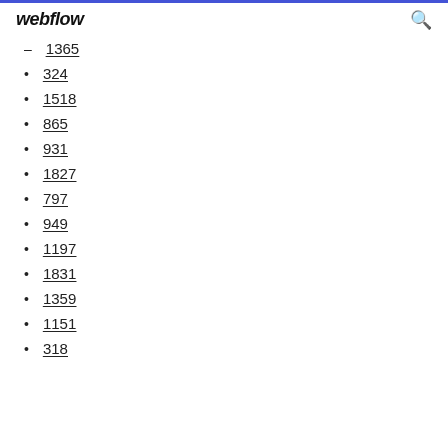webflow
1365
324
1518
865
931
1827
797
949
1197
1831
1359
1151
318